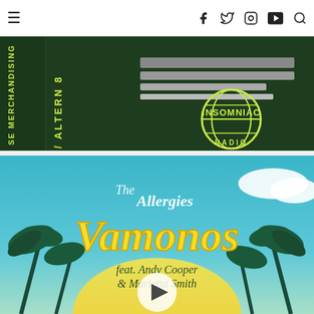≡  f  twitter  instagram  youtube  search
[Figure (photo): Dark green background image showing a VHS cassette or merchandise with text 'SE MERCHANDISING' and '/ ALTERN 8' in yellow-green letters, with Insomniac Radio globe logo in yellow-green on right side]
[Figure (photo): The Allergies 'Vamonos' album art featuring tropical blue-sky scene with palm trees, yellow script lettering reading 'The Allergies Vamonos feat. Andy Cooper & Marietta Smith', with a play button overlay in the center]